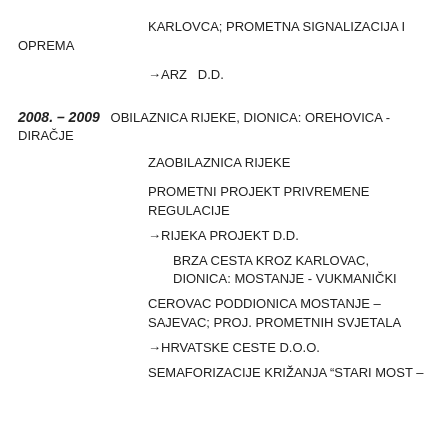KARLOVCA; PROMETNA SIGNALIZACIJA I OPREMA
→ARZ  D.D.
2008. – 2009  OBILAZNICA RIJEKE, DIONICA: OREHOVICA - DIRAČJE
ZAOBILAZNICA RIJEKE
PROMETNI PROJEKT PRIVREMENE REGULACIJE
→RIJEKA PROJEKT D.D.
BRZA CESTA KROZ KARLOVAC, DIONICA: MOSTANJE - VUKMANIČKI
CEROVAC PODDIONICA MOSTANJE – SAJEVAC; PROJ. PROMETNIH SVJETALA
→HRVATSKE CESTE D.O.O.
SEMAFORIZACIJE KRIŽANJA "STARI MOST –